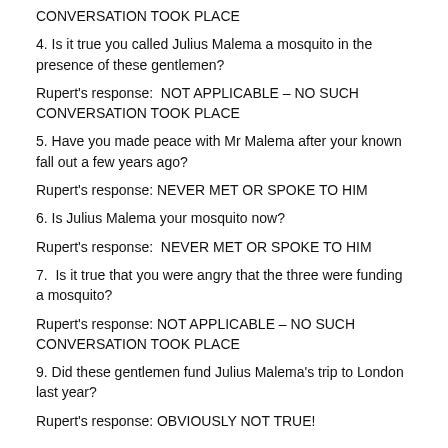CONVERSATION TOOK PLACE
4. Is it true you called Julius Malema a mosquito in the presence of these gentlemen?
Rupert's response:  NOT APPLICABLE – NO SUCH CONVERSATION TOOK PLACE
5. Have you made peace with Mr Malema after your known fall out a few years ago?
Rupert's response: NEVER MET OR SPOKE TO HIM
6. Is Julius Malema your mosquito now?
Rupert's response:  NEVER MET OR SPOKE TO HIM
7.  Is it true that you were angry that the three were funding a mosquito?
Rupert's response: NOT APPLICABLE – NO SUCH CONVERSATION TOOK PLACE
9. Did these gentlemen fund Julius Malema's trip to London last year?
Rupert's response: OBVIOUSLY NOT TRUE!